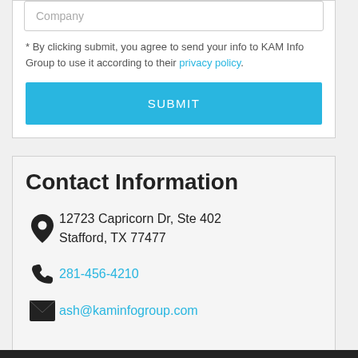Company
* By clicking submit, you agree to send your info to KAM Info Group to use it according to their privacy policy.
SUBMIT
Contact Information
12723 Capricorn Dr, Ste 402 Stafford, TX 77477
281-456-4210
ash@kaminfogroup.com